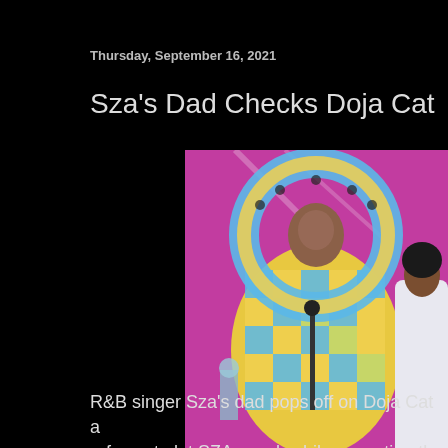Thursday, September 16, 2021
Sza's Dad Checks Doja Cat
[Figure (photo): Photo of two women on stage at an awards show. One woman in the center wears a large colorful geometric patterned outfit with a matching oversized circular hat/halo. Another woman stands to the right in a white satin outfit. Background is bright pink/magenta. A microphone stand is visible in front.]
R&B singer Sza's dad pops off on Doja Cat after she refuses to let SZA speak while accepting th